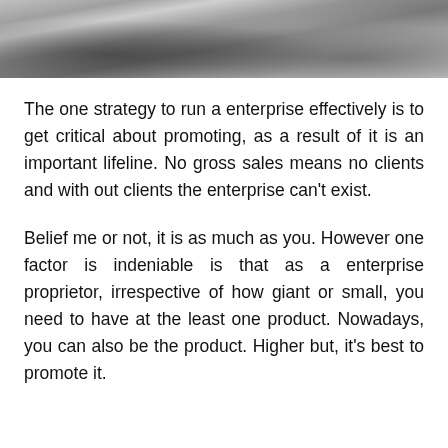[Figure (photo): Black and white photograph showing a person in a suit, partially visible, reclining or seated.]
The one strategy to run a enterprise effectively is to get critical about promoting, as a result of it is an important lifeline. No gross sales means no clients and with out clients the enterprise can't exist.
Belief me or not, it is as much as you. However one factor is indeniable is that as a enterprise proprietor, irrespective of how giant or small, you need to have at the least one product. Nowadays, you can also be the product. Higher but, it's best to promote it.